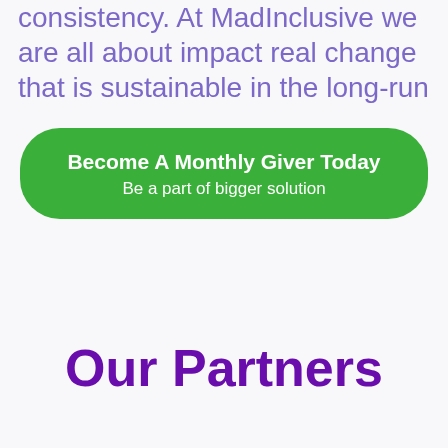consistency. At MadInclusive we are all about impact real change that is sustainable in the long-run
[Figure (other): Green rounded button with white text: 'Become A Monthly Giver Today' and subtext 'Be a part of bigger solution']
Our Partners